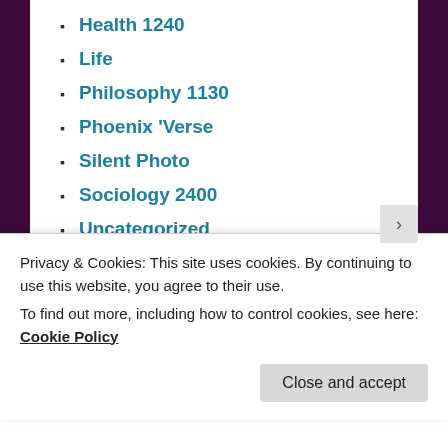Health 1240
Life
Philosophy 1130
Phoenix 'Verse
Silent Photo
Sociology 2400
Uncategorized
Writing Prompts
META
Register
Log in
Entries feed
Comments feed
Privacy & Cookies: This site uses cookies. By continuing to use this website, you agree to their use.
To find out more, including how to control cookies, see here: Cookie Policy